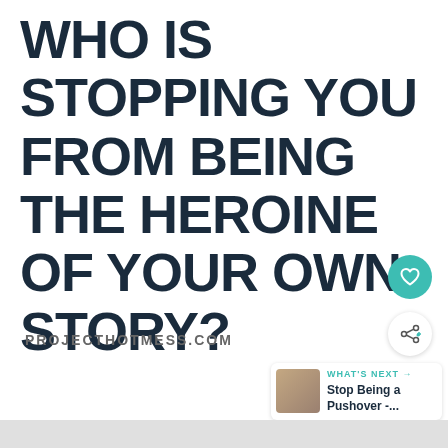WHO IS STOPPING YOU FROM BEING THE HEROINE OF YOUR OWN STORY?
PROJECTHOTMESS.COM
[Figure (infographic): Teal heart icon button (like/favorite)]
[Figure (infographic): Share icon button]
[Figure (infographic): What's Next panel with thumbnail of hands and text: Stop Being a Pushover -...]